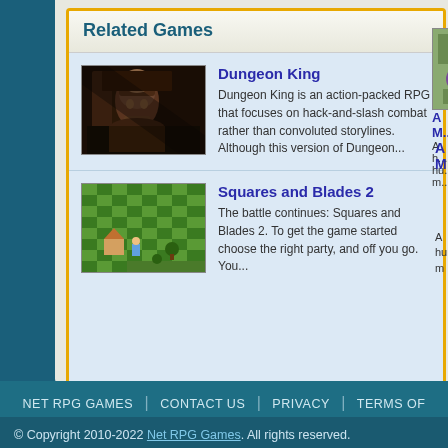Related Games
[Figure (screenshot): Dungeon King game thumbnail - dark fantasy RPG character]
Dungeon King
Dungeon King is an action-packed RPG that focuses on hack-and-slash combat rather than convoluted storylines. Although this version of Dungeon...
[Figure (screenshot): Partially visible RPG game thumbnail on right side]
[Figure (screenshot): Squares and Blades 2 game thumbnail - top-down grid map]
Squares and Blades 2
The battle continues: Squares and Blades 2. To get the game started choose the right party, and off you go. You...
[Figure (screenshot): Partially visible RPG game thumbnail on right side]
NET RPG GAMES | CONTACT US | PRIVACY | TERMS OF SERVICE
© Copyright 2010-2022 Net RPG Games. All rights reserved.
Third-party trademarks are used solely for distributing the games indexed herein a